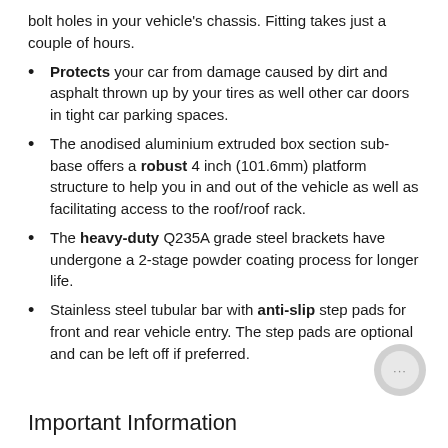bolt holes in your vehicle's chassis. Fitting takes just a couple of hours.
Protects your car from damage caused by dirt and asphalt thrown up by your tires as well other car doors in tight car parking spaces.
The anodised aluminium extruded box section sub-base offers a robust 4 inch (101.6mm) platform structure to help you in and out of the vehicle as well as facilitating access to the roof/roof rack.
The heavy-duty Q235A grade steel brackets have undergone a 2-stage powder coating process for longer life.
Stainless steel tubular bar with anti-slip step pads for front and rear vehicle entry. The step pads are optional and can be left off if preferred.
Important Information